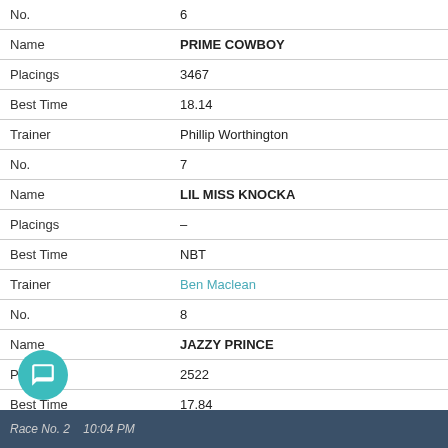| Field | Value |
| --- | --- |
| No. | 6 |
| Name | PRIME COWBOY |
| Placings | 3467 |
| Best Time | 18.14 |
| Trainer | Phillip Worthington |
| No. | 7 |
| Name | LIL MISS KNOCKA |
| Placings | – |
| Best Time | NBT |
| Trainer | Ben Maclean |
| No. | 8 |
| Name | JAZZY PRINCE |
| Placings | 2522 |
| Best Time | 17.84 |
| Trainer | Rod Noden |
Race No. 2   10:04 PM